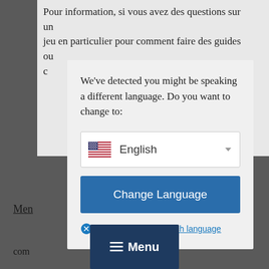[Figure (screenshot): A website screenshot showing a language-change modal dialog over a page with French text. The modal has the message 'We've detected you might be speaking a different language. Do you want to change to:', a dropdown showing 'English' with a US flag, a blue 'Change Language' button, and a 'Close and do not switch language' link. At the bottom of the page is a dark blue 'Menu' button.]